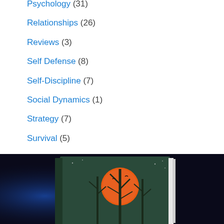Psychology (31)
Relationships (26)
Reviews (3)
Self Defense (8)
Self-Discipline (7)
Social Dynamics (1)
Strategy (7)
Survival (5)
Travel (4)
[Figure (photo): Book cover displayed with dark background featuring a forest scene with an orange moon and bare trees on a dark green/teal background]